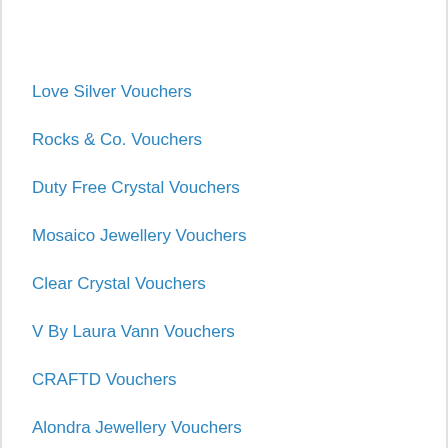Love Silver Vouchers
Rocks & Co. Vouchers
Duty Free Crystal Vouchers
Mosaico Jewellery Vouchers
Clear Crystal Vouchers
V By Laura Vann Vouchers
CRAFTD Vouchers
Alondra Jewellery Vouchers
Jeulia Vouchers